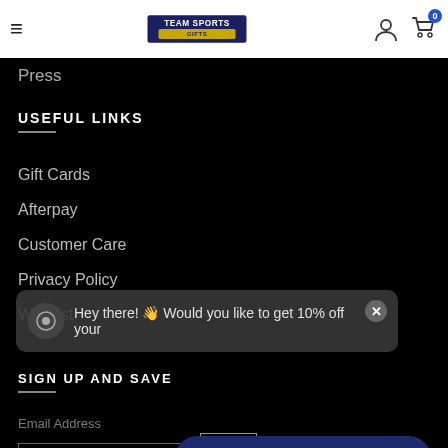Team Sports Gifts
Press
USEFUL LINKS
Gift Cards
Afterpay
Customer Care
Privacy Policy
Wishlist
Hey there! Would you like to get 10% off your
SIGN UP AND SAVE
Email Address
ADD
Super Fan Rewards